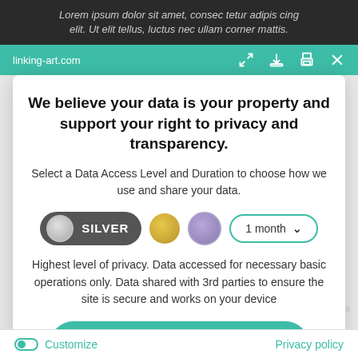[Figure (screenshot): Browser toolbar showing linking-art.com URL with teal background and action icons (expand, download, print, close)]
We believe your data is your property and support your right to privacy and transparency.
Select a Data Access Level and Duration to choose how we use and share your data.
[Figure (infographic): Privacy level selector showing Silver toggle pill (dark background with circle and SILVER label), gold circle, purple circle, and 1 month dropdown]
Highest level of privacy. Data accessed for necessary basic operations only. Data shared with 3rd parties to ensure the site is secure and works on your device
[Figure (infographic): Save my preferences green rounded button]
Customize
Privacy policy